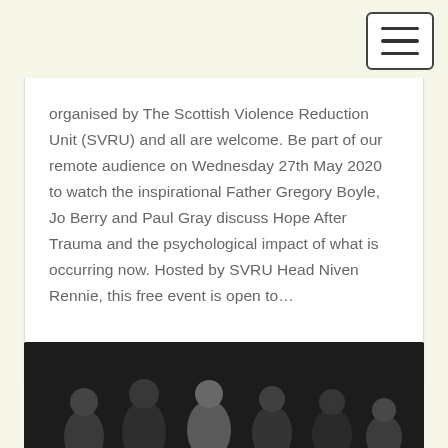organised by The Scottish Violence Reduction Unit (SVRU) and all are welcome. Be part of our remote audience on Wednesday 27th May 2020 to watch the inspirational Father Gregory Boyle, Jo Berry and Paul Gray discuss Hope After Trauma and the psychological impact of what is occurring now. Hosted by SVRU Head Niven Rennie, this free event is open to…
READ MORE
[Figure (photo): Group photo of several people standing against a dark background]